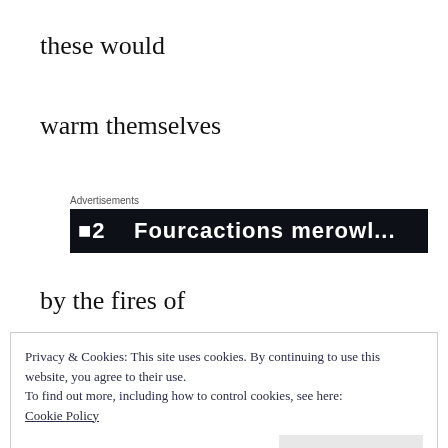these would
warm themselves
[Figure (other): Advertisement banner with dark background showing partial text]
by the fires of
Privacy & Cookies: This site uses cookies. By continuing to use this website, you agree to their use.
To find out more, including how to control cookies, see here:
Cookie Policy
Close and accept